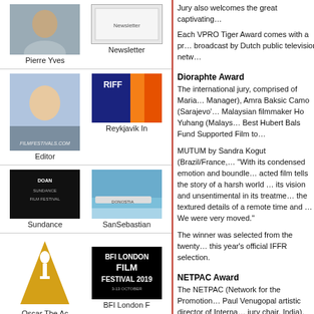[Figure (photo): Portrait photo of Pierre Yves]
Pierre Yves
[Figure (photo): Newsletter image/cover]
Newsletter
[Figure (photo): Editor photo with filmfestivals.com logo]
Editor
[Figure (photo): RIFF - Reykjavik International Film Festival logo/image]
Reykjavik In
[Figure (photo): Sundance Film Festival sign]
Sundance
[Figure (photo): SanSebastian film festival sign by water]
SanSebastian
[Figure (logo): Oscar The Academy award logo - golden triangle with figure]
Oscar The Ac
[Figure (logo): BFI London Film Festival 2019 logo]
BFI London F
[Figure (logo): International Film Festival logo with cat face]
[Figure (photo): Person with glasses photo]
Jury also welcomes the great captivating...
Each VPRO Tiger Award comes with a pr... broadcast by Dutch public television netw...
Dioraphte Award
The international jury, comprised of Maria... Manager), Amra Baksic Camo (Sarajevo'... Malaysian filmmaker Ho Yuhang (Malays... Best Hubert Bals Fund Supported Film to...
MUTUM by Sandra Kogut (Brazil/France,... "With its condensed emotion and boundle... acted film tells the story of a harsh world ... its vision and unsentimental in its treatme... the textured details of a remote time and ... We were very moved."
The winner was selected from the twenty... this year's official IFFR selection.
NETPAC Award
The NETPAC (Network for the Promotion... Paul Venugopal artistic director of Interna... jury chair, India), Shanty Harmayn (film p... International Film Festival, Indonesia) an... Kelab Seni Film Malaysia), presented the...